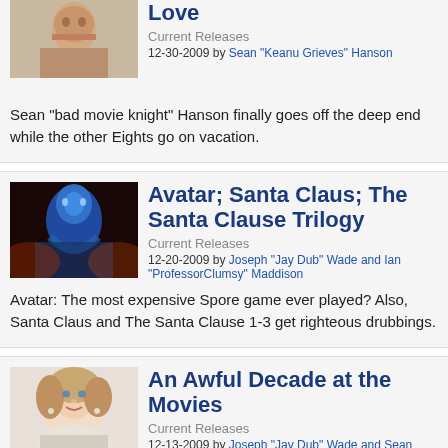Love
Current Releases
12-30-2009 by Sean "Keanu Grieves" Hanson
Sean "bad movie knight" Hanson finally goes off the deep end while the other Eights go on vacation.
Avatar; Santa Claus; The Santa Clause Trilogy
Current Releases
12-20-2009 by Joseph "Jay Dub" Wade and Ian "ProfessorClumsy" Maddison
Avatar: The most expensive Spore game ever played? Also, Santa Claus and The Santa Clause 1-3 get righteous drubbings.
An Awful Decade at the Movies
Current Releases
12-13-2009 by Joseph "Jay Dub" Wade and Sean "Keanu Grieves" Hanson
Comedies, dramas, action flicks and horror yarns all...